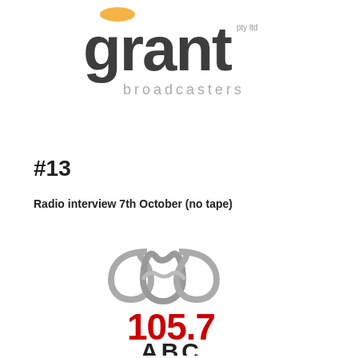[Figure (logo): Grant Broadcasters Pty Ltd logo — large dark grey 'grant' wordmark with pty ltd superscript, and 'broadcasters' in grey below]
#13
Radio interview 7th October (no tape)
[Figure (logo): ABC 105.7 logo — stylized ABC lissajous figure in silver/grey above '105.7' in red and 'ABC' in black]